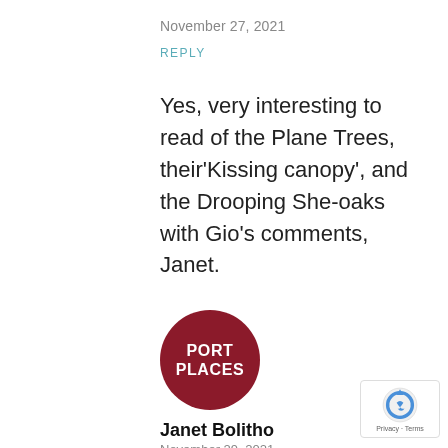November 27, 2021
REPLY
Yes, very interesting to read of the Plane Trees, their'Kissing canopy', and the Drooping She-oaks with Gio's comments, Janet.
[Figure (logo): Circular dark red logo with white text PORT PLACES]
Janet Bolitho
November 29, 2021